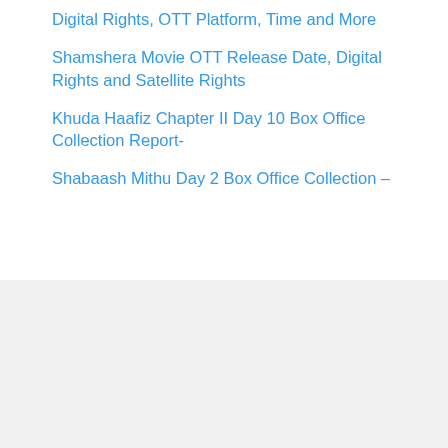Digital Rights, OTT Platform, Time and More
Shamshera Movie OTT Release Date, Digital Rights and Satellite Rights
Khuda Haafiz Chapter II Day 10 Box Office Collection Report-
Shabaash Mithu Day 2 Box Office Collection –